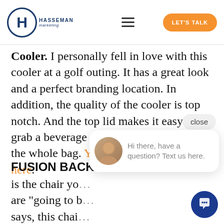Hasseman Marketing — LET'S TALK
Cooler. I personally fell in love with this cooler at a golf outing. It has a great look and a perfect branding location. In addition, the quality of the cooler is top notch. And the top lid makes it easy to grab a beverage and go without opening the whole bag. You can find more info here.
FUSION BACK...
is the chair yo... are "going to b... says, this chai... want to make it your new office. Including a backpack, cooler, a shelf and so much more... Fusion Chair is for the most discerning of...